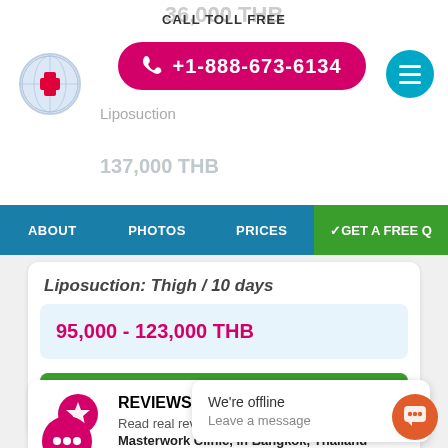36,000 THB
CALL TOLL FREE
+1-888-673-6134
Liposuction
137,000 THB
ABOUT   PHOTOS   PRICES   ✓GET A FREE Q
Liposuction: Thigh / 10 days
95,000 - 123,000 THB
GET A FREE QUOTE→
REVIEWS (30)
Read real review
Masterwork Clinic, in Bangkok, Thailand
We're offline
Leave a message